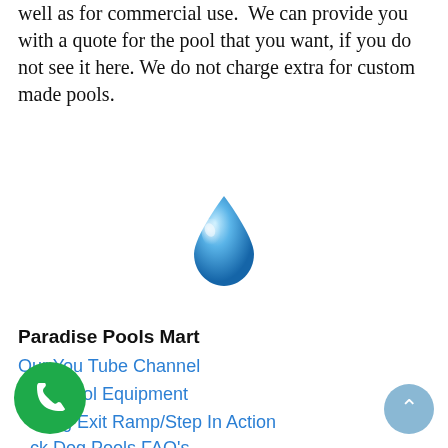well as for commercial use.  We can provide you with a quote for the pool that you want, if you do not see it here. We do not charge extra for custom made pools.
[Figure (illustration): Blue water droplet emoji icon]
Paradise Pools Mart
Our You Tube Channel
2. Pool Equipment
Dog Exit Ramp/Step In Action
ck Dog Pools FAQ's